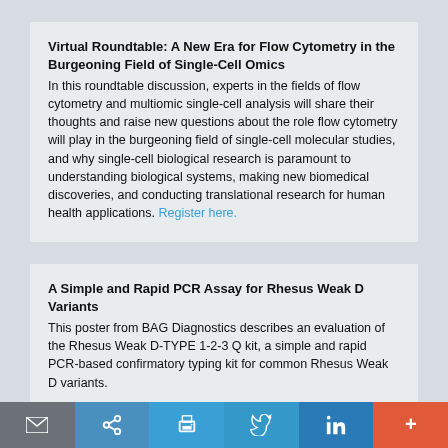Virtual Roundtable: A New Era for Flow Cytometry in the Burgeoning Field of Single-Cell Omics
In this roundtable discussion, experts in the fields of flow cytometry and multiomic single-cell analysis will share their thoughts and raise new questions about the role flow cytometry will play in the burgeoning field of single-cell molecular studies, and why single-cell biological research is paramount to understanding biological systems, making new biomedical discoveries, and conducting translational research for human health applications. Register here.
A Simple and Rapid PCR Assay for Rhesus Weak D Variants
This poster from BAG Diagnostics describes an evaluation of the Rhesus Weak D-TYPE 1-2-3 Q kit, a simple and rapid PCR-based confirmatory typing kit for common Rhesus Weak D variants.